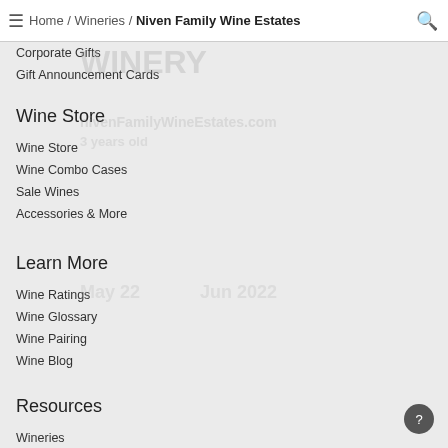Home / Wineries / Niven Family Wine Estates
Corporate Gifts
Gift Announcement Cards
Wine Store
Wine Store
Wine Combo Cases
Sale Wines
Accessories & More
Learn More
Wine Ratings
Wine Glossary
Wine Pairing
Wine Blog
Resources
Wineries